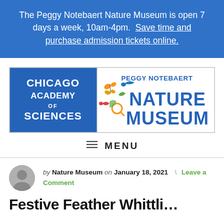The Peggy Notebaert Nature Museum is open 7 days a week, 10am-4pm. Save time and purchase admission tickets online.
[Figure (logo): Chicago Academy of Sciences / Peggy Notebaert Nature Museum combined logo. Left half: blue background with white text 'CHICAGO ACADEMY OF SCIENCES'. Right half: white background with blue text 'PEGGY NOTEBAERT NATURE MUSEUM' and colorful nature icons.]
MENU
by Nature Museum on January 18, 2021 | Leave a Comment
Festive Feather Whittli…